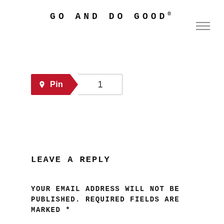GO AND DO GOOD®
[Figure (other): Pinterest Pin button with count of 1]
LEAVE A REPLY
YOUR EMAIL ADDRESS WILL NOT BE PUBLISHED. REQUIRED FIELDS ARE MARKED *
COMMENT *
[Figure (other): Empty comment text area input box]